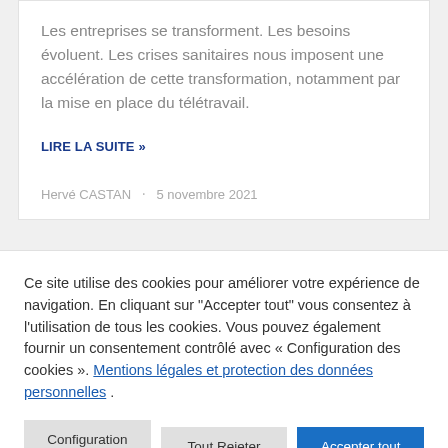Les entreprises se transforment. Les besoins évoluent. Les crises sanitaires nous imposent une accélération de cette transformation, notamment par la mise en place du télétravail.
LIRE LA SUITE »
Hervé CASTAN · 5 novembre 2021
Ce site utilise des cookies pour améliorer votre expérience de navigation. En cliquant sur "Accepter tout" vous consentez à l'utilisation de tous les cookies. Vous pouvez également fournir un consentement contrôlé avec « Configuration des cookies ». Mentions légales et protection des données personnelles .